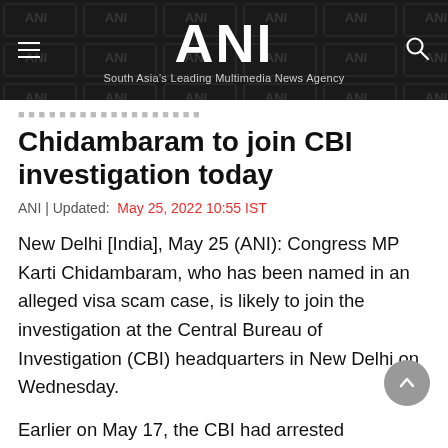ANI — South Asia's Leading Multimedia News Agency
Chidambaram to join CBI investigation today
ANI | Updated: May 25, 2022 10:55 IST
New Delhi [India], May 25 (ANI): Congress MP Karti Chidambaram, who has been named in an alleged visa scam case, is likely to join the investigation at the Central Bureau of Investigation (CBI) headquarters in New Delhi on Wednesday.
Earlier on May 17, the CBI had arrested